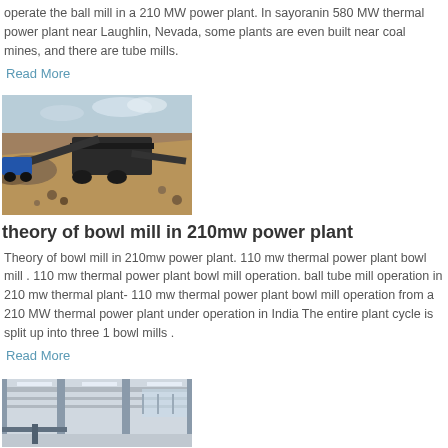operate the ball mill in a 210 MW power plant. In sayoranin 580 MW thermal power plant near Laughlin, Nevada, some plants are even built near coal mines, and there are tube mills.
Read More
[Figure (photo): Outdoor industrial mining or crushing equipment site with machinery, conveyors, and rocky terrain under a partly cloudy sky.]
theory of bowl mill in 210mw power plant
Theory of bowl mill in 210mw power plant. 110 mw thermal power plant bowl mill . 110 mw thermal power plant bowl mill operation. ball tube mill operation in 210 mw thermal plant- 110 mw thermal power plant bowl mill operation from a 210 MW thermal power plant under operation in India The entire plant cycle is split up into three 1 bowl mills .
Read More
[Figure (photo): Interior of a large industrial building or factory with structural steel columns and ceiling beams, with natural light coming through windows.]